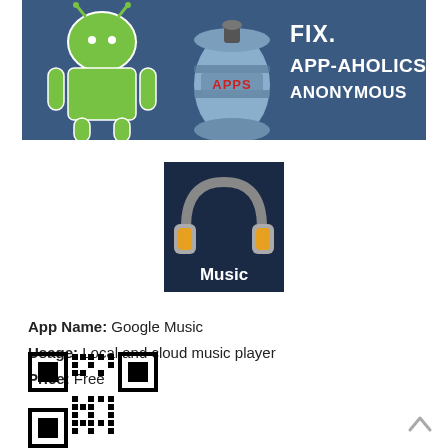[Figure (illustration): Banner with Android robot mascot (green), a blue keg with APPS label, and text FIX. APP-AHOLICS ANONYMOUS on dark blue background]
[Figure (illustration): Google Music app icon: dark blue background with grey and orange headphones and white text 'Music']
App Name: Google Music
Usage: Local and cloud music player
Price: Free
[Figure (other): QR code for Google Music app]